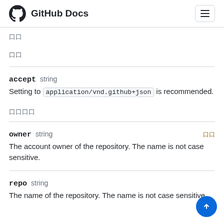GitHub Docs
口口
口口
accept  string
Setting to application/vnd.github+json is recommended.
口口口口
owner  string  口口
The account owner of the repository. The name is not case sensitive.
repo  string
The name of the repository. The name is not case sensitive.